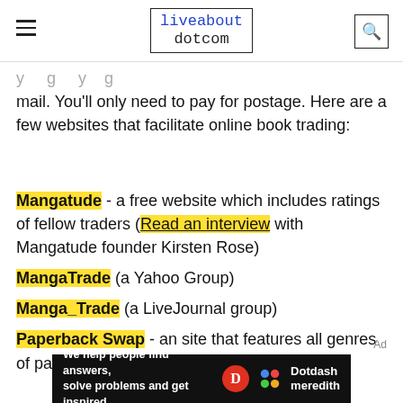liveabout dotcom
mail. You'll only need to pay for postage. Here are a few websites that facilitate online book trading:
Mangatude - a free website which includes ratings of fellow traders (Read an interview with Mangatude founder Kirsten Rose)
MangaTrade (a Yahoo Group)
Manga_Trade (a LiveJournal group)
Paperback Swap - an site that features all genres of paperback books
[Figure (other): Dotdash Meredith advertisement banner: 'We help people find answers, solve problems and get inspired.']